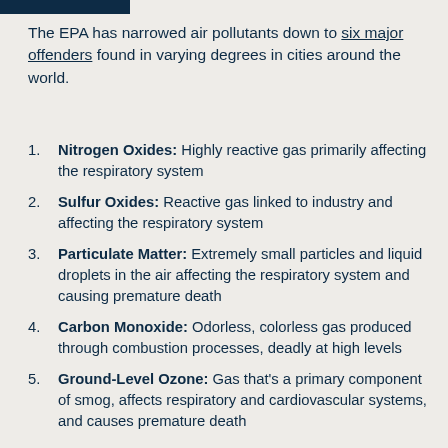The EPA has narrowed air pollutants down to six major offenders found in varying degrees in cities around the world.
Nitrogen Oxides: Highly reactive gas primarily affecting the respiratory system
Sulfur Oxides: Reactive gas linked to industry and affecting the respiratory system
Particulate Matter: Extremely small particles and liquid droplets in the air affecting the respiratory system and causing premature death
Carbon Monoxide: Odorless, colorless gas produced through combustion processes, deadly at high levels
Ground-Level Ozone: Gas that's a primary component of smog, affects respiratory and cardiovascular systems, and causes premature death